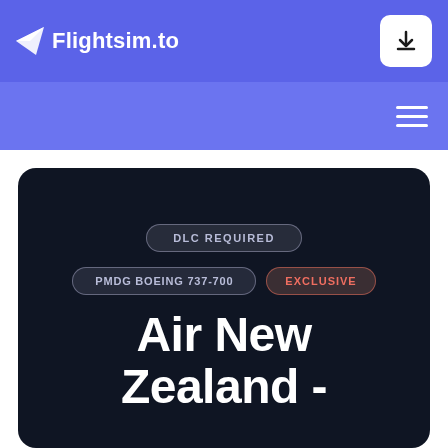Flightsim.to
[Figure (screenshot): Flightsim.to website screenshot showing a product listing for Air New Zealand PMDG Boeing 737-700 livery with DLC Required and Exclusive badges on dark background card]
DLC REQUIRED
PMDG BOEING 737-700
EXCLUSIVE
Air New Zealand -